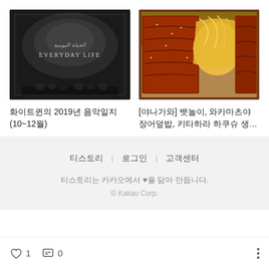[Figure (photo): Black and white album cover with text 'EVERYDAY LIFE' and Arabic script]
화이트퀸의 2019년 음악일지 (10~12월)
[Figure (photo): Japanese unaju (eel over rice) dish in wooden box with egg toppings]
[야나가와] 뱃놀이, 와카마츠야 장어덮밥, 키타하라 하쿠슈 생…
티스토리 | 로그인 | 고객센터
티스토리는 카카오에서 ♥을 담아 만듭니다.
© Kakao Corp.